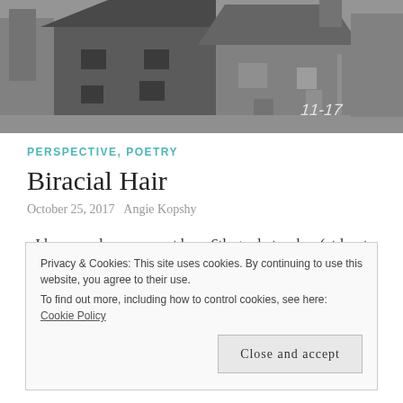[Figure (photo): Black and white photograph of an old brick building with a steep tiled roof, bare trees in background, text '11-17' visible bottom right]
PERSPECTIVE, POETRY
Biracial Hair
October 25, 2017   Angie Kopshy
I happened upon a post by a 6th grade teacher (at least she was at the time of the 2014 post) by Jesska Daugherty. The
Privacy & Cookies: This site uses cookies. By continuing to use this website, you agree to their use.
To find out more, including how to control cookies, see here: Cookie Policy
Close and accept